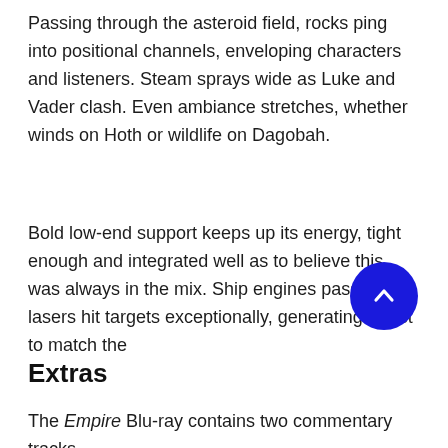Passing through the asteroid field, rocks ping into positional channels, enveloping characters and listeners. Steam sprays wide as Luke and Vader clash. Even ambiance stretches, whether winds on Hoth or wildlife on Dagobah.
Bold low-end support keeps up its energy, tight enough and integrated well as to believe this was always in the mix. Ship engines pass and lasers hit targets exceptionally, generating thrust to match the
Extras
The Empire Blu-ray contains two commentary tracks.